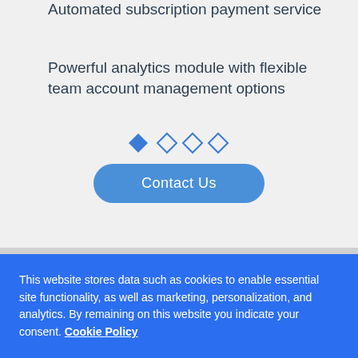Automated subscription payment service
Powerful analytics module with flexible team account management options
[Figure (other): Four diamond/rhombus shapes used as carousel pagination indicators: first diamond filled blue, remaining three are outlined/empty]
Contact Us
This website stores data such as cookies to enable essential site functionality, as well as marketing, personalization, and analytics. By remaining on this website you indicate your consent. Cookie Policy